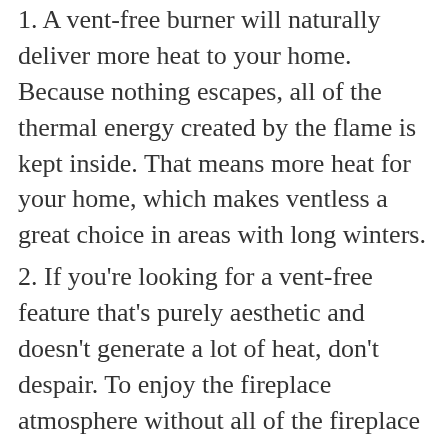1. A vent-free burner will naturally deliver more heat to your home. Because nothing escapes, all of the thermal energy created by the flame is kept inside. That means more heat for your home, which makes ventless a great choice in areas with long winters.
2. If you're looking for a vent-free feature that's purely aesthetic and doesn't generate a lot of heat, don't despair. To enjoy the fireplace atmosphere without all of the fireplace heat, simply choose a ventless burner that doesn't generate a lot of BTUs, such as the G8E.
3. Finally, a vent-free fireplace cannot be installed in all states. State and local codes may prohibit you entirely from owning a ventless